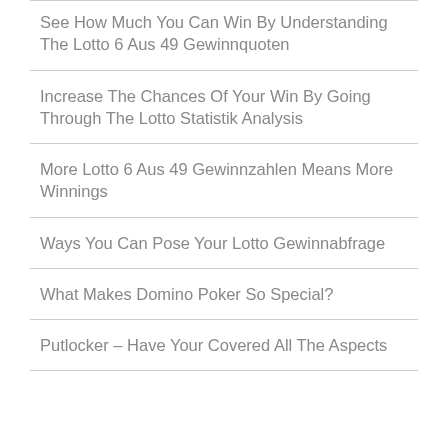See How Much You Can Win By Understanding The Lotto 6 Aus 49 Gewinnquoten
Increase The Chances Of Your Win By Going Through The Lotto Statistik Analysis
More Lotto 6 Aus 49 Gewinnzahlen Means More Winnings
Ways You Can Pose Your Lotto Gewinnabfrage
What Makes Domino Poker So Special?
Putlocker – Have Your Covered All The Aspects